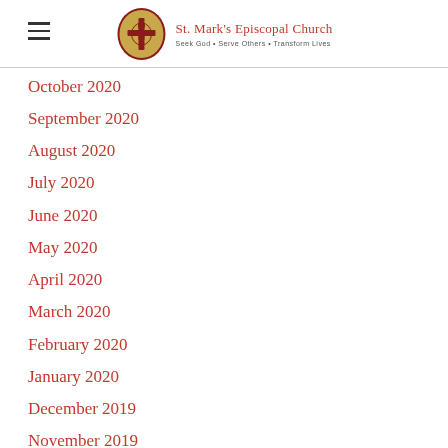St. Mark's Episcopal Church — Seek God • Serve Others • Transform Lives
October 2020
September 2020
August 2020
July 2020
June 2020
May 2020
April 2020
March 2020
February 2020
January 2020
December 2019
November 2019
October 2019
September 2019
August 2019
July 2019
June 2019
May 2019